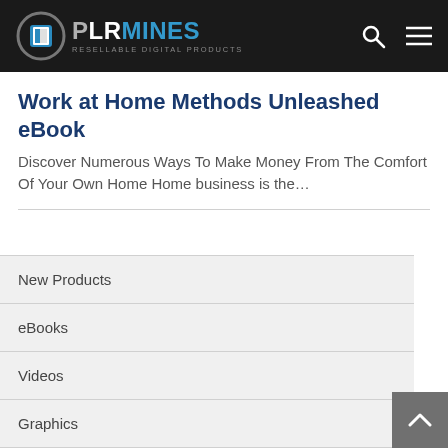PLRMINES RESELLABLE DIGITAL PRODUCTS
Work at Home Methods Unleashed eBook
Discover Numerous Ways To Make Money From The Comfort Of Your Own Home Home business is the…
New Products
eBooks
Videos
Graphics